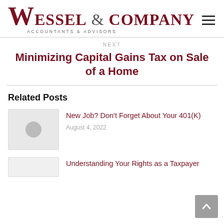Wessel & Company Accountants & Advisors
NEXT
Minimizing Capital Gains Tax on Sale of a Home
Related Posts
[Figure (photo): Thumbnail placeholder image with circular icon for related post]
New Job? Don't Forget About Your 401(K)
August 4, 2022
[Figure (photo): Thumbnail placeholder image for second related post]
Understanding Your Rights as a Taxpayer